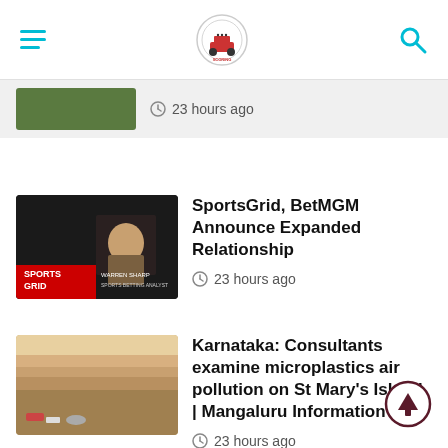Navigation bar with hamburger menu, logo, and search icon
23 hours ago
SportsGrid, BetMGM Announce Expanded Relationship
23 hours ago
Karnataka: Consultants examine microplastics air pollution on St Mary's Island | Mangaluru Information
23 hours ago